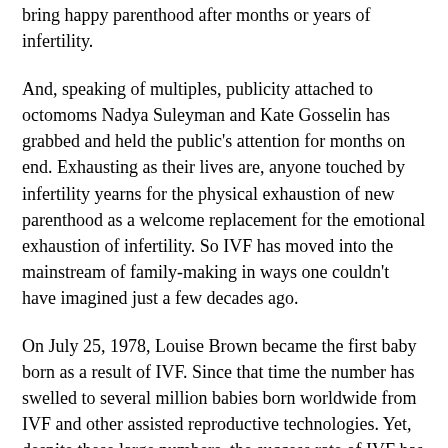bring happy parenthood after months or years of infertility.
And, speaking of multiples, publicity attached to octomoms Nadya Suleyman and Kate Gosselin has grabbed and held the public's attention for months on end. Exhausting as their lives are, anyone touched by infertility yearns for the physical exhaustion of new parenthood as a welcome replacement for the emotional exhaustion of infertility. So IVF has moved into the mainstream of family-making in ways one couldn't have imagined just a few decades ago.
On July 25, 1978, Louise Brown became the first baby born as a result of IVF. Since that time the number has swelled to several million babies born worldwide from IVF and other assisted reproductive technologies. Yet, despite these large numbers, the success rate of IVF has climbed only modestly since 1978. About 15 years ago the IVF success rate was about 10 percent; today it is about 25 percent. Some clinics will calculate their statistics according to the age and health of the prospective mother, so data exist showing that the rate can be as high as 50 percent. However, even those impressive rates don't usually reveal the hidden issues, such as costs, number of IVF procedures before a healthy...